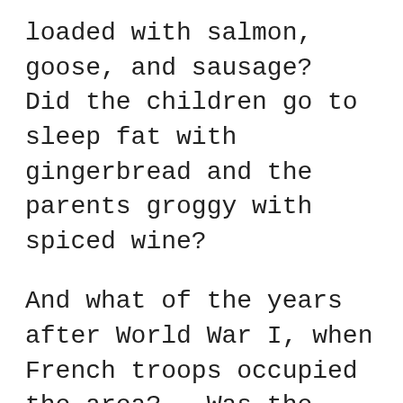loaded with salmon, goose, and sausage?  Did the children go to sleep fat with gingerbread and the parents groggy with spiced wine?
And what of the years after World War I, when French troops occupied the area?   Was the occupation oppressive or a barely perceptible weight on the shoulders of the locals . . . who must have been haunted already by their own grief, so many young soldiers lost in the war.
And this interplay of politics and personal life certainly wasn't diminished in the years that crept toward World War II.  What about those Christmas dinners?  Were there rousing nationalistic talks around the table, was there support for the Third Reich, or was there dread at the creeping dark?  Were